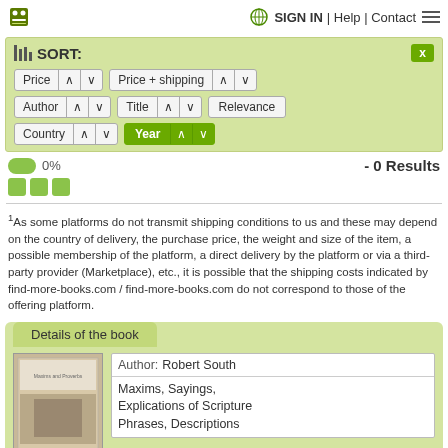SIGN IN | Help | Contact
SORT:
Price  Price + shipping  Author  Title  Relevance  Country  Year
0%   - 0 Results
1As some platforms do not transmit shipping conditions to us and these may depend on the country of delivery, the purchase price, the weight and size of the item, a possible membership of the platform, a direct delivery by the platform or via a third-party provider (Marketplace), etc., it is possible that the shipping costs indicated by find-more-books.com / find-more-books.com do not correspond to those of the offering platform.
Details of the book
Author: Robert South
Maxims, Sayings, Explications of Scripture Phrases, Descriptions